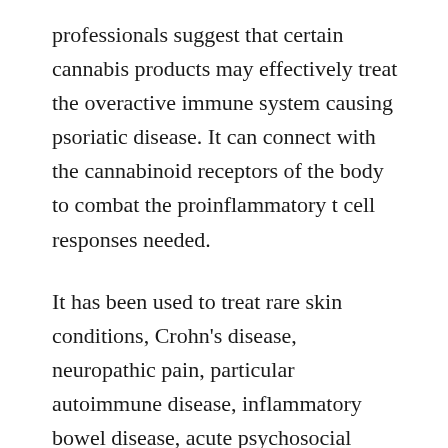professionals suggest that certain cannabis products may effectively treat the overactive immune system causing psoriatic disease. It can connect with the cannabinoid receptors of the body to combat the proinflammatory t cell responses needed.
It has been used to treat rare skin conditions, Crohn's disease, neuropathic pain, particular autoimmune disease, inflammatory bowel disease, acute psychosocial stress, and many other conditions. More research is needed to make an accurate scientific determination of the health benefits of medical marijuana for people with psoriasis.
Is it legal?